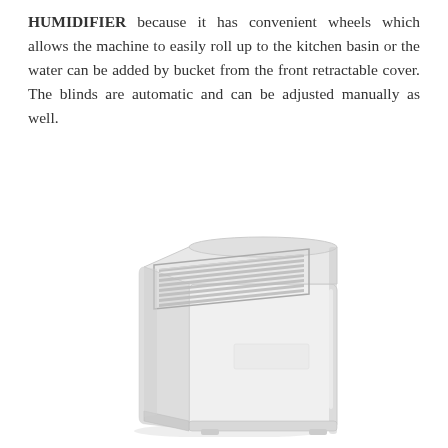HUMIDIFIER because it has convenient wheels which allows the machine to easily roll up to the kitchen basin or the water can be added by bucket from the front retractable cover. The blinds are automatic and can be adjusted manually as well.
[Figure (photo): A white humidifier appliance with slanted ventilation blinds/louvers on the top-front face, a boxy rectangular white body, shown in a 3/4 angle view against a white background.]